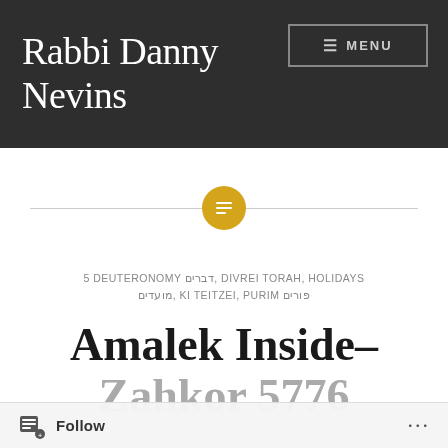Rabbi Danny Nevins
≡ MENU
[Figure (other): Decorative horizontal divider with a gold circle icon containing a lines/text symbol in the center]
5 DEUTERONOMY דברים, DIVREI TORAH, HOLIDAYS מועדים, KI TEITZEI, PURIM פורים
Amalek Inside– Zahkor 5776
Follow